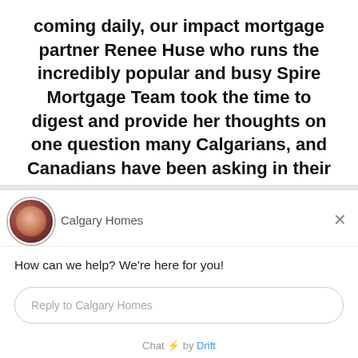coming daily, our impact mortgage partner Renee Huse who runs the incredibly popular and busy Spire Mortgage Team took the time to digest and provide her thoughts on one question many Calgarians, and Canadians have been asking in their homes. Should I defer my mortgage?
[Figure (screenshot): A chat widget popup from 'Calgary Homes' (Drift chat) showing a profile avatar, greeting text 'How can we help? We're here for you!', a reply input box, and 'Chat by Drift' footer.]